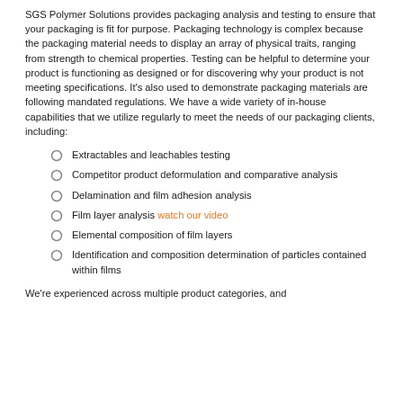SGS Polymer Solutions provides packaging analysis and testing to ensure that your packaging is fit for purpose. Packaging technology is complex because the packaging material needs to display an array of physical traits, ranging from strength to chemical properties. Testing can be helpful to determine your product is functioning as designed or for discovering why your product is not meeting specifications. It's also used to demonstrate packaging materials are following mandated regulations. We have a wide variety of in-house capabilities that we utilize regularly to meet the needs of our packaging clients, including:
Extractables and leachables testing
Competitor product deformulation and comparative analysis
Delamination and film adhesion analysis
Film layer analysis watch our video
Elemental composition of film layers
Identification and composition determination of particles contained within films
We're experienced across multiple product categories, and